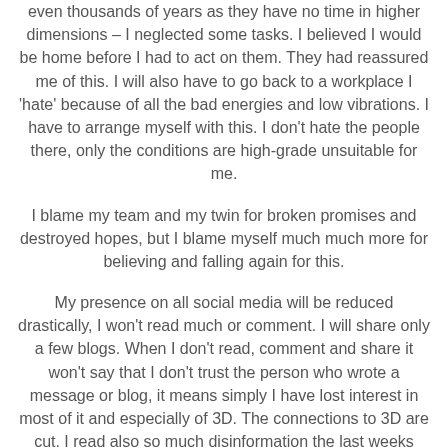even thousands of years as they have no time in higher dimensions – I neglected some tasks. I believed I would be home before I had to act on them. They had reassured me of this. I will also have to go back to a workplace I 'hate' because of all the bad energies and low vibrations. I have to arrange myself with this. I don't hate the people there, only the conditions are high-grade unsuitable for me.
I blame my team and my twin for broken promises and destroyed hopes, but I blame myself much much more for believing and falling again for this.
My presence on all social media will be reduced drastically, I won't read much or comment. I will share only a few blogs. When I don't read, comment and share it won't say that I don't trust the person who wrote a message or blog, it means simply I have lost interest in most of it and especially of 3D. The connections to 3D are cut. I read also so much disinformation the last weeks also from people I thought to be reliable channels. I don't